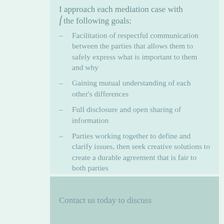I approach each mediation case with the following goals:
Facilitation of respectful communication between the parties that allows them to safely express what is important to them and why
Gaining mutual understanding of each other's differences
Full disclosure and open sharing of information
Parties working together to define and clarify issues, then seek creative solutions to create a durable agreement that is fair to both parties
Contact us today to discuss